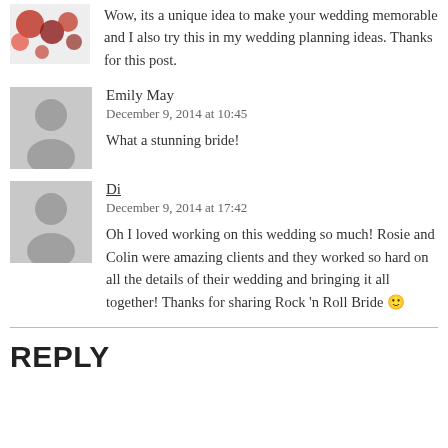[Figure (illustration): Small avatar image with decorative icons (ornaments) at top left, partially visible]
Wow, its a unique idea to make your wedding memorable and I also try this in my wedding planning ideas. Thanks for this post.
[Figure (illustration): Gray placeholder avatar (silhouette of a person) for Emily May]
Emily May
December 9, 2014 at 10:45
What a stunning bride!
[Figure (illustration): Gray placeholder avatar (silhouette of a person) for Di]
Di
December 9, 2014 at 17:42
Oh I loved working on this wedding so much! Rosie and Colin were amazing clients and they worked so hard on all the details of their wedding and bringing it all together! Thanks for sharing Rock 'n Roll Bride 🙂
REPLY